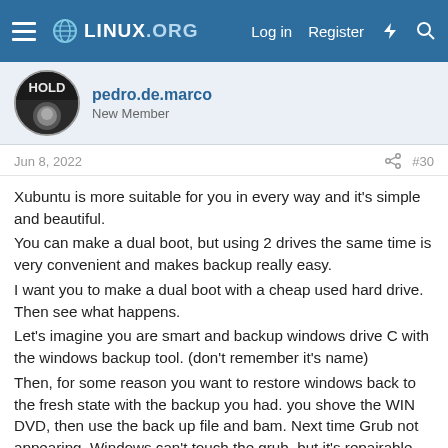LINUX.ORG — Log in  Register
pedro.de.marco
New Member
Jun 8, 2022  #30
Xubuntu is more suitable for you in every way and it's simple and beautiful.
You can make a dual boot, but using 2 drives the same time is very convenient and makes backup really easy.
I want you to make a dual boot with a cheap used hard drive. Then see what happens.
Let's imagine you are smart and backup windows drive C with the windows backup tool. (don't remember it's name)
Then, for some reason you want to restore windows back to the fresh state with the backup you had. you shove the WIN DVD, then use the back up file and bam. Next time Grub not appearing. Windows can't touch the grub, but it's repairable. You use the live linux distros as mentioned and fix the errors.
And you can't backup the linux installation separately. It may be